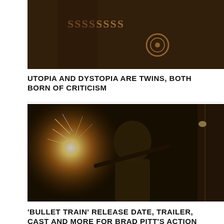[Figure (photo): Close-up photo of decorative chain necklace with ornate pendant against dark fabric clothing]
UTOPIA AND DYSTOPIA ARE TWINS, BOTH BORN OF CRITICISM
[Figure (photo): Movie still from 'Bullet Train' showing a man with long dark hair holding a pole/staff on a train car with sparks and bright light in the background]
'BULLET TRAIN' RELEASE DATE, TRAILER, CAST AND MORE FOR BRAD PITT'S ACTION MOVIE